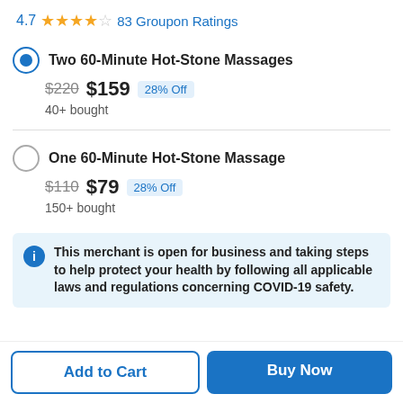4.7 ★★★★☆ 83 Groupon Ratings
Two 60-Minute Hot-Stone Massages — $220 $159 28% Off — 40+ bought
One 60-Minute Hot-Stone Massage — $110 $79 28% Off — 150+ bought
This merchant is open for business and taking steps to help protect your health by following all applicable laws and regulations concerning COVID-19 safety.
Add to Cart
Buy Now